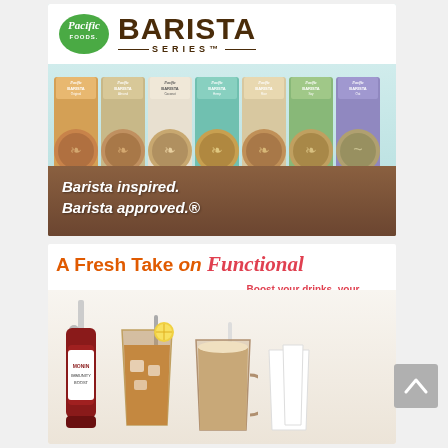[Figure (illustration): Pacific Foods Barista Series advertisement showing 7 product cartons (oat, almond, coconut, hemp, rice, soy, hazelnut varieties) against a teal and wood background with the tagline 'Barista inspired. Barista approved.' and the Pacific Foods logo.]
[Figure (illustration): A Fresh Take on Functional advertisement featuring Monin Immunity Boost syrup bottle next to iced tea drinks with lemon. Text reads 'A Fresh Take on Functional' and 'Boost your drinks, your menu & your profits.']